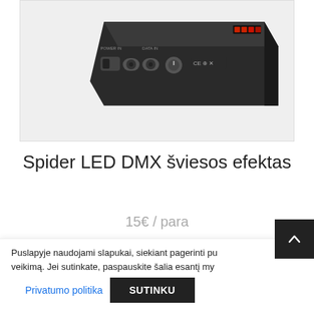[Figure (photo): Close-up photo of the back panel of a Spider LED DMX lighting effect device, showing connectors and controls on a dark chassis, photographed from an angle against a light gray background.]
Spider LED DMX šviesos efektas
15€ / para
Užsakyti
Puslapyje naudojami slapukai, siekiant pagerinti pu... veikimą. Jei sutinkate, paspauskite šalia esantį my...
Privatumo politika
SUTINKU